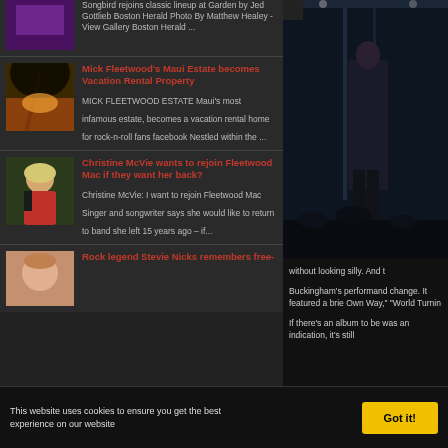[Figure (screenshot): News aggregator webpage showing Fleetwood Mac related articles in dark theme with two-column layout]
Songbird rejoins classic lineup at Garden by Jed Gottlieb Boston Herald Photo By Matthew Healey - View Gallery Boston Herald ...
Mick Fleetwood's Maui Estate becomes Vacation Rental Property
MICK FLEETWOOD ESTATE Maui's most infamous estate, becomes a vacation rental home for rock-n-roll fans facebook Nestled within the ...
Christine McVie wants to rejoin Fleetwood Mac if they want her back?
Christine McVie: I want to rejoin Fleetwood Mac Singer and songwriter says she would like to return to band she left 15 years ago – if...
Rock legend Stevie Nicks remembers free-
without looking silly. And t
Buckingham's performand change. It featured a brie Own Way," "World Turnin
If there's an album to be was an indication, it's still
This website uses cookies to ensure you get the best experience on our website
Got it!